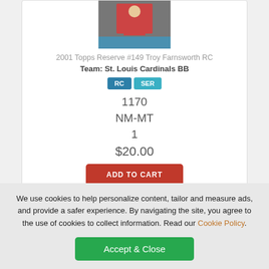[Figure (photo): Baseball card player photo thumbnail, player in red shirt]
2001 Topps Reserve #149 Troy Farnsworth RC
Team: St. Louis Cardinals BB
RC  SER
1170
NM-MT
1
$20.00
ADD TO CART
We use cookies to help personalize content, tailor and measure ads, and provide a safer experience. By navigating the site, you agree to the use of cookies to collect information. Read our Cookie Policy.
Accept & Close